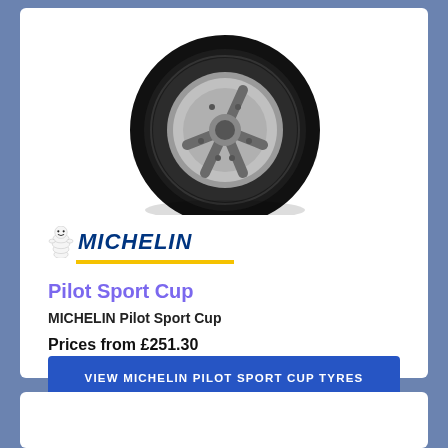[Figure (photo): Michelin Pilot Sport Cup tyre shown at an angle, black tyre with silver alloy wheel visible]
[Figure (logo): Michelin logo with Bibendum (Michelin Man) mascot on the left and MICHELIN text in bold italic blue with yellow underline]
Pilot Sport Cup
MICHELIN Pilot Sport Cup
Prices from £251.30
VIEW MICHELIN PILOT SPORT CUP TYRES
[Figure (photo): Partial view of another tyre at the bottom of the page]